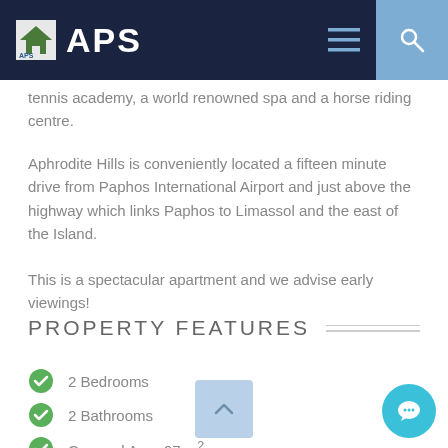APS
tennis academy, a world renowned spa and a horse riding centre.
Aphrodite Hills is conveniently located a fifteen minute drive from Paphos International Airport and just above the highway which links Paphos to Limassol and the east of the Island.
This is a spectacular apartment and we advise early viewings!
PROPERTY FEATURES
2 Bedrooms
2 Bathrooms
Covered Area 97 m²